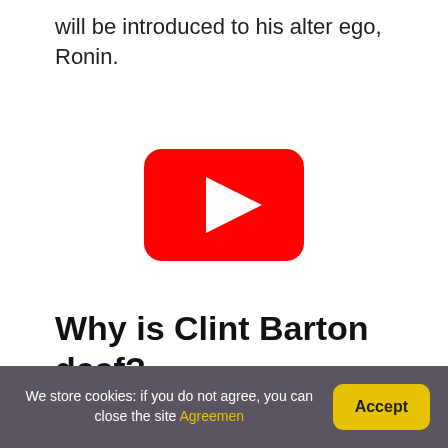will be introduced to his alter ego, Ronin.
[Figure (other): YouTube play button icon — red rounded rectangle with white triangle play arrow in the center]
Why is Clint Barton deaf?
Hawkeye will see Clint Barton train a successor in Kate Bishop, but recent images
We store cookies: if you do not agree, you can close the site Agreemen  Accept